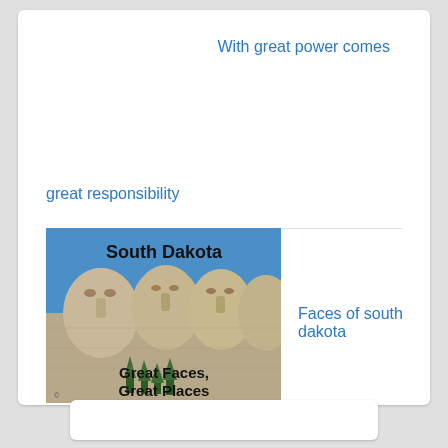With great power comes
great responsibility
[Figure (photo): Mount Rushmore image with text 'South Dakota' at top and 'Great Faces, Great Places' at bottom]
Faces of south dakota